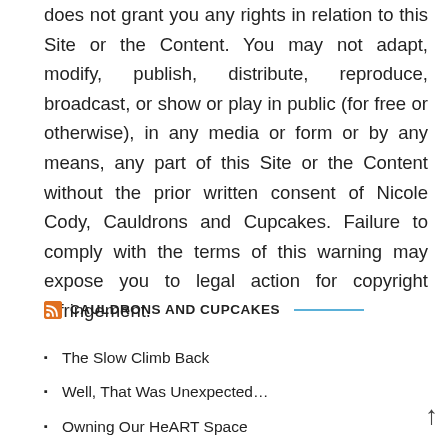does not grant you any rights in relation to this Site or the Content. You may not adapt, modify, publish, distribute, reproduce, broadcast, or show or play in public (for free or otherwise), in any media or form or by any means, any part of this Site or the Content without the prior written consent of Nicole Cody, Cauldrons and Cupcakes. Failure to comply with the terms of this warning may expose you to legal action for copyright infringement.
CAULDRONS AND CUPCAKES
The Slow Climb Back
Well, That Was Unexpected…
Owning Our HeART Space
Not Everyone Peaks Early